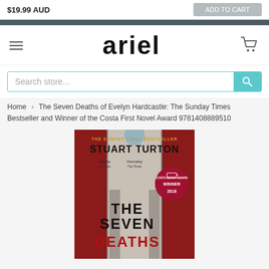$19.99 AUD
ariel
Search store...
Home › The Seven Deaths of Evelyn Hardcastle: The Sunday Times Bestseller and Winner of the Costa First Novel Award 9781408889510
[Figure (photo): Book cover of 'The Seven Deaths of Evelyn Hardcastle' by Stuart Turton, showing text 'THE SUNDAY TIMES BESTSELLER', author name, and the title THE SEVEN DEATHS with red and dark gothic imagery, plus a Costa Book Award winner 2018 seal.]